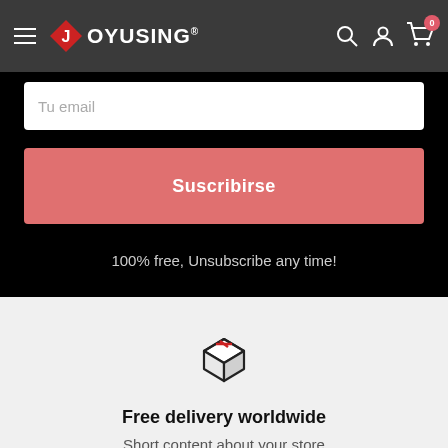JOYUSING navigation bar with hamburger menu, logo, search, account, and cart icons
Tu email
Suscribirse
100% free, Unsubscribe any time!
[Figure (illustration): Package/box icon with red stripe detail, line art style]
Free delivery worldwide
Short content about your store